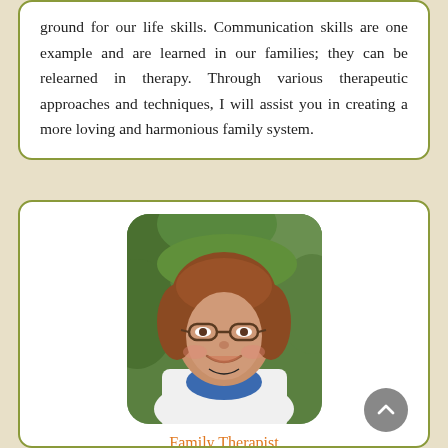ground for our life skills. Communication skills are one example and are learned in our families; they can be relearned in therapy. Through various therapeutic approaches and techniques, I will assist you in creating a more loving and harmonious family system.
[Figure (photo): Portrait photo of Mary L Lyon, LPC - a woman with short reddish-brown hair and glasses, smiling, wearing a white jacket over a blue top, with green foliage in background]
Family Therapist
Mary L Lyon, LPC